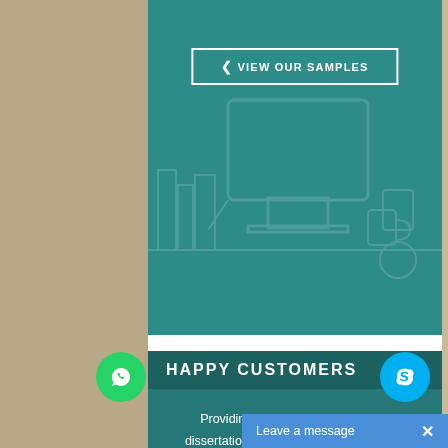[Figure (screenshot): Teal banner with VIEW OUR SAMPLES button and decorative desk/book illustration outline]
HAPPY CUSTOMERS
Providing essays, coursework and dissertation writing services since 2007.
[Figure (infographic): 4.9 out of 5 star rating shown as 5 star icons (4 full, 1 half) on orange rounded squares]
Customers Rated 4.9 out of 5 based on 561 reviews.
Leave a message  ×